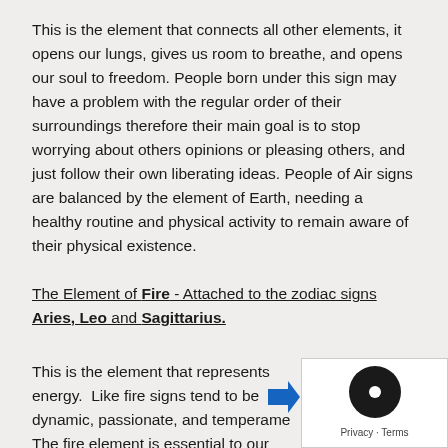This is the element that connects all other elements, it opens our lungs, gives us room to breathe, and opens our soul to freedom. People born under this sign may have a problem with the regular order of their surroundings therefore their main goal is to stop worrying about others opinions or pleasing others, and just follow their own liberating ideas. People of Air signs are balanced by the element of Earth, needing a healthy routine and physical activity to remain aware of their physical existence.
The Element of Fire - Attached to the zodiac signs Aries, Leo and Sagittarius.
This is the element that represents energy.  Like fire signs tend to be dynamic, passionate, and temperame The fire element is essential to our basic life force. These